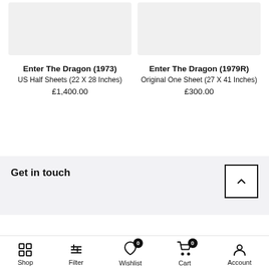[Figure (photo): Product image placeholder (grey rectangle) for Enter The Dragon (1973)]
Enter The Dragon (1973)
US Half Sheets (22 X 28 Inches)
£1,400.00
[Figure (photo): Product image placeholder (grey rectangle) for Enter The Dragon (1979R)]
Enter The Dragon (1979R)
Original One Sheet (27 X 41 Inches)
£300.00
Get in touch
Shop | Filter | Wishlist 0 | Cart 0 | Account